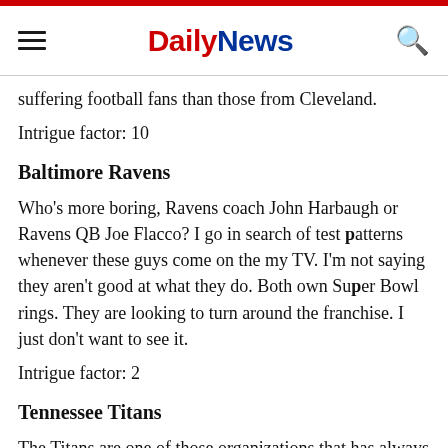Daily News
suffering football fans than those from Cleveland.
Intrigue factor: 10
Baltimore Ravens
Who's more boring, Ravens coach John Harbaugh or Ravens QB Joe Flacco? I go in search of test patterns whenever these guys come on the my TV. I'm not saying they aren't good at what they do. Both own Super Bowl rings. They are looking to turn around the franchise. I just don't want to see it.
Intrigue factor: 2
Tennessee Titans
The Titans are one of those organizations that has always bored me to tears. Maybe I still connect long-